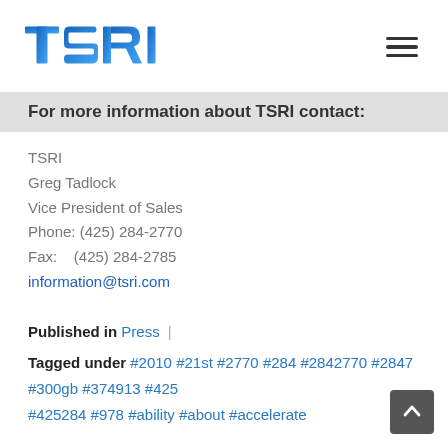[Figure (logo): TSRI logo with blue gradient letters]
For more information about TSRI contact:
TSRI
Greg Tadlock
Vice President of Sales
Phone: (425) 284-2770
Fax:    (425) 284-2785
information@tsri.com
Published in Press |
Tagged under #2010 #21st #2770 #284 #2842770 #2847 #300gb #374913 #425 #425284 #978 #ability #about #accelerate